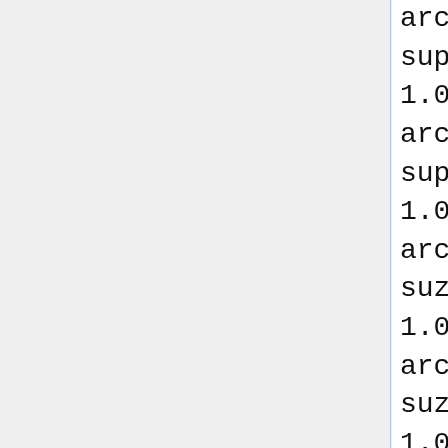archive.strangeautomata.com//ro
supersample.SuperTrackFire
1.0,http://robocode-
archive.strangeautomata.com//ro
supersample.SuperWalls
1.0,http://robocode-
archive.strangeautomata.com//ro
suzushin7.nano.Galaxy01
1.01,http://robocode-
archive.strangeautomata.com/rob
suzushin7.nano.Galaxy02
1.01,http://robocode-
archive.strangeautomata.com/rob
suzushin7.nano.Galaxy03
1.01,http://robocode-
archive.strangeautomata.com/rob
suzushin7.nano.TargetC
1.00,http://robocode-
archive.strangeautomata.com/rob
syl.Centipede
0.5,http://robocode-
archive.strangeautomata.com/rob
synapse.Geomancy
15,http://robocode-
archive.strangeautomata.com/rob